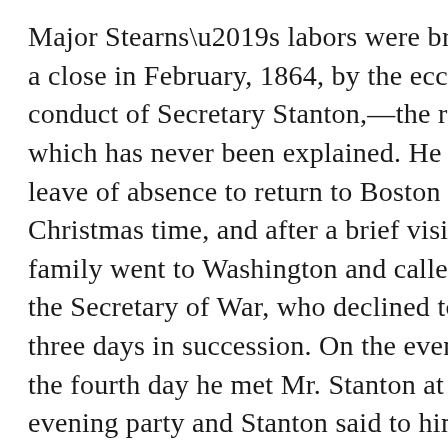Major Stearns’s labors were brought to a close in February, 1864, by the eccentric conduct of Secretary Stanton,—the reason for which has never been explained. He obtained leave of absence to return to Boston at Christmas time, and after a brief visit to his family went to Washington and called upon the Secretary of War, who declined to see him three days in succession. On the evening of the fourth day he met Mr. Stanton at an evening party and Stanton said to him in his roughest manner: “Major Stearns, why are you not in Tennessee?” This was a breach